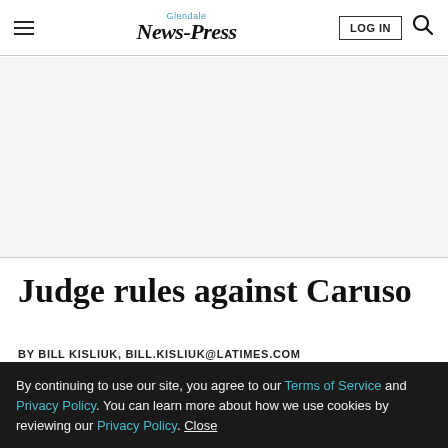Glendale News-Press | LOG IN
Judge rules against Caruso
BY BILL KISLIUK, BILL.KISLIUK@LATIMES.COM
FEB. 2, 2011 6:33 PM PT
By continuing to use our site, you agree to our Terms of Service and Privacy Policy. You can learn more about how we use cookies by reviewing our Privacy Policy. Close
Americana at Brand developer Caruso Affiliated and the